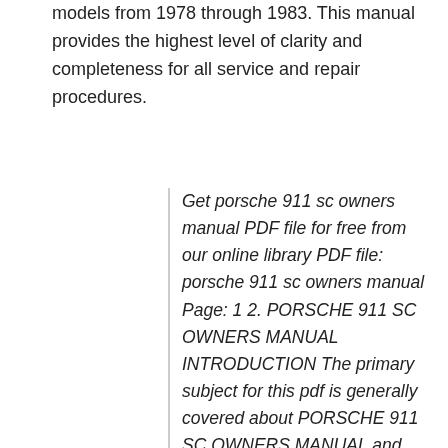models from 1978 through 1983. This manual provides the highest level of clarity and completeness for all service and repair procedures.
Get porsche 911 sc owners manual PDF file for free from our online library PDF file: porsche 911 sc owners manual Page: 1 2. PORSCHE 911 SC OWNERS MANUAL INTRODUCTION The primary subject for this pdf is generally covered about PORSCHE 911 SC OWNERS MANUAL and finalized with all of the required and supporting information on the niche. Porsche 911 SC Service Manual 1978-1983 - Coupe, Targa, and Cabriolet by Bentley Service Publications